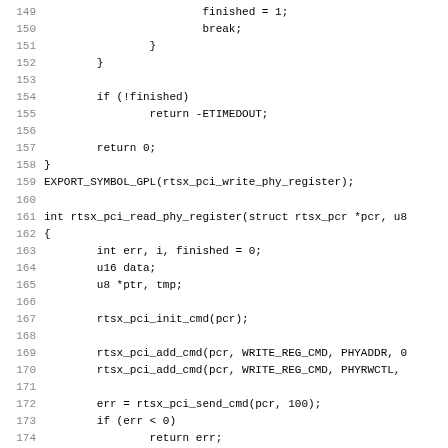Source code listing lines 149-181, C kernel driver code for rtsx_pci_read_phy_register and related functions